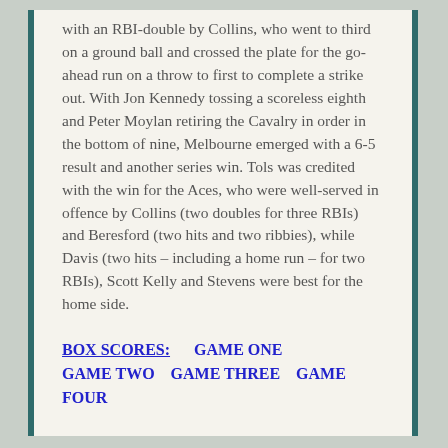with an RBI-double by Collins, who went to third on a ground ball and crossed the plate for the go-ahead run on a throw to first to complete a strike out. With Jon Kennedy tossing a scoreless eighth and Peter Moylan retiring the Cavalry in order in the bottom of nine, Melbourne emerged with a 6-5 result and another series win. Tols was credited with the win for the Aces, who were well-served in offence by Collins (two doubles for three RBIs) and Beresford (two hits and two ribbies), while Davis (two hits – including a home run – for two RBIs), Scott Kelly and Stevens were best for the home side.
BOX SCORES:   GAME ONE   GAME TWO   GAME THREE   GAME FOUR